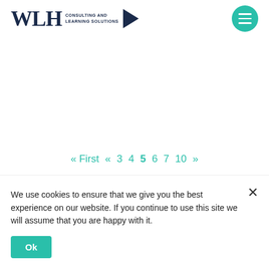[Figure (logo): WLH Consulting and Learning Solutions logo with dark navy serif W, L, H letters, text 'CONSULTING AND LEARNING SOLUTIONS', and a dark navy right-pointing arrow/play button triangle]
[Figure (other): Teal/green circular hamburger menu button with three white horizontal lines]
« First « 3 4 5 6 7 10 »
We use cookies to ensure that we give you the best experience on our website. If you continue to use this site we will assume that you are happy with it.